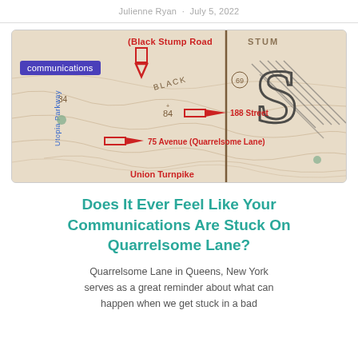Julienne Ryan · July 5, 2022
[Figure (map): Vintage topographic map showing streets including Black Stump Road, 188 Street, 75 Avenue (Quarrelsome Lane), Utopia Parkway, and Union Turnpike in Queens, New York. Red arrows and labels annotate the streets. A purple 'communications' tag overlays the top-left area.]
Does It Ever Feel Like Your Communications Are Stuck On Quarrelsome Lane?
Quarrelsome Lane in Queens, New York serves as a great reminder about what can happen when we get stuck in a bad